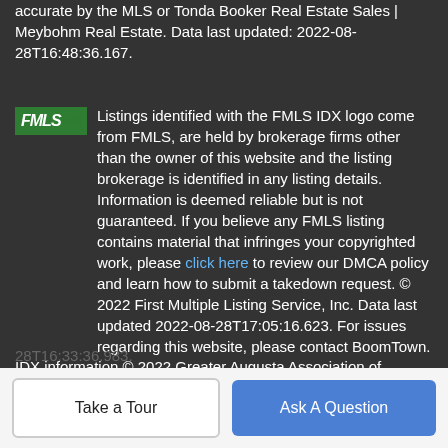accurate by the MLS or Tonda Booker Real Estate Sales | Meybohm Real Estate. Data last updated: 2022-08-28T16:48:36.167.
Listings identified with the FMLS IDX logo come from FMLS, are held by brokerage firms other than the owner of this website and the listing brokerage is identified in any listing details. Information is deemed reliable but is not guaranteed. If you believe any FMLS listing contains material that infringes your copyrighted work, please click here to review our DMCA policy and learn how to submit a takedown request. © 2022 First Multiple Listing Service, Inc. Data last updated 2022-08-28T17:05:16.623. For issues regarding this website, please contact BoomTown.
IDX information © 2022 Greater Augusta Association of Realtors. IDX information is provided exclusively for consumers' personal, non-commercial use and may not be used for any purpose other than to identify prospective properties consumers may be interested in purchasing. Information is believed to be accurate but
28T16:33:36.983.
[Figure (logo): FMLS IDX logo - green background with white italic bold FMLS text and IDX superscript in green]
Take a Tour
Ask A Question